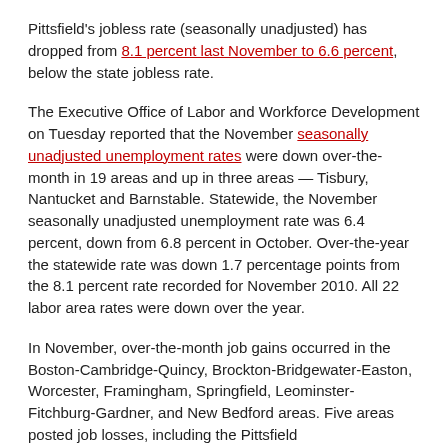Pittsfield's jobless rate (seasonally unadjusted) has dropped from 8.1 percent last November to 6.6 percent, below the state jobless rate.
The Executive Office of Labor and Workforce Development on Tuesday reported that the November seasonally unadjusted unemployment rates were down over-the-month in 19 areas and up in three areas — Tisbury, Nantucket and Barnstable. Statewide, the November seasonally unadjusted unemployment rate was 6.4 percent, down from 6.8 percent in October. Over-the-year the statewide rate was down 1.7 percentage points from the 8.1 percent rate recorded for November 2010. All 22 labor area rates were down over the year.
In November, over-the-month job gains occurred in the Boston-Cambridge-Quincy, Brockton-Bridgewater-Easton, Worcester, Framingham, Springfield, Leominster-Fitchburg-Gardner, and New Bedford areas. Five areas posted job losses, including the Pittsfield